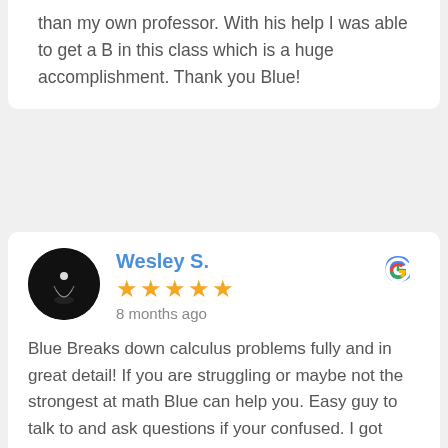than my own professor. With his help I was able to get a B in this class which is a huge accomplishment. Thank you Blue!
Wesley S.
8 months ago
Blue Breaks down calculus problems fully and in great detail! If you are struggling or maybe not the strongest at math Blue can help you. Easy guy to talk to and ask questions if your confused. I got 100% on all the online webworks. We went through the written practice as well. The way CSUs Math 155 Course is structured can be frustrating, I highly recommend booking an appointment with blue when you can, he makes the course less stressful! Thanks again Blue!